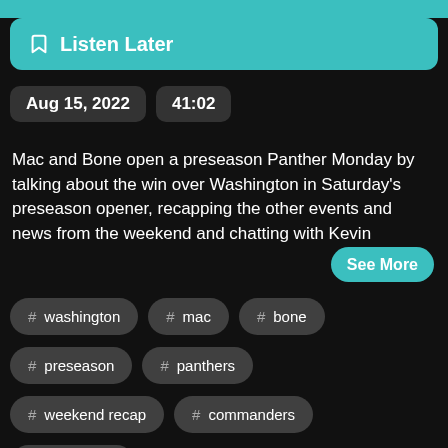[Figure (screenshot): Teal top bar strip]
Listen Later
Aug 15, 2022   41:02
Mac and Bone open a preseason Panther Monday by talking about the win over Washington in Saturday's preseason opener, recapping the other events and news from the weekend and chatting with Kevin
See More
# washington
# mac
# bone
# preseason
# panthers
# weekend recap
# commanders
mac attack